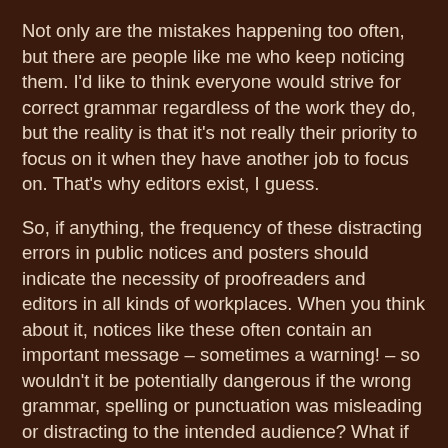Not only are the mistakes happening too often, but there are people like me who keep noticing them. I'd like to think everyone would strive for correct grammar regardless of the work they do, but the reality is that it's not really their priority to focus on it when they have another job to focus on. That's why editors exist, I guess.
So, if anything, the frequency of these distracting errors in public notices and posters should indicate the necessity of proofreaders and editors in all kinds of workplaces. When you think about it, notices like these often contain an important message – sometimes a warning! – so wouldn't it be potentially dangerous if the wrong grammar, spelling or punctuation was misleading or distracting to the intended audience? What if they miss the message altogether?
It's not always capitals and apostrophes that are wrong. Sometimes the wrong word is used too. So I would encourage everyone who intends to write something to learn the rules, double-check everything, and brush up on things with a dictionary. If you're writing something – anything – you have a responsibility to communicate effectively and…